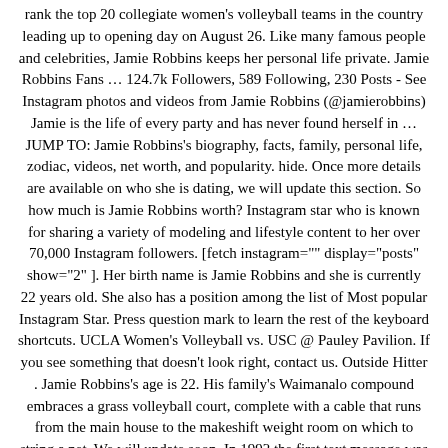rank the top 20 collegiate women's volleyball teams in the country leading up to opening day on August 26. Like many famous people and celebrities, Jamie Robbins keeps her personal life private. Jamie Robbins Fans … 124.7k Followers, 589 Following, 230 Posts - See Instagram photos and videos from Jamie Robbins (@jamierobbins) Jamie is the life of every party and has never found herself in … JUMP TO: Jamie Robbins's biography, facts, family, personal life, zodiac, videos, net worth, and popularity. hide. Once more details are available on who she is dating, we will update this section. So how much is Jamie Robbins worth? Instagram star who is known for sharing a variety of modeling and lifestyle content to her over 70,000 Instagram followers. [fetch instagram="" display="posts" show="2" ]. Her birth name is Jamie Robbins and she is currently 22 years old. She also has a position among the list of Most popular Instagram Star. Press question mark to learn the rest of the keyboard shortcuts. UCLA Women's Volleyball vs. USC @ Pauley Pavilion. If you see something that doesn't look right, contact us. Outside Hitter . Jamie Robbins's age is 22. His family's Waimanalo compound embraces a grass volleyball court, complete with a cable that runs from the main house to the makeshift weight room on which to string a net. We will update soon. In 1992 the first text message was sent, DVDs were invented, Sony PlayStation was released and Google was founded. UCLA Volleyball vs. Austin Peay @ Pauley Pavilion, NCAA Tournament Round One Pisces Named Jamie #8. Jamie